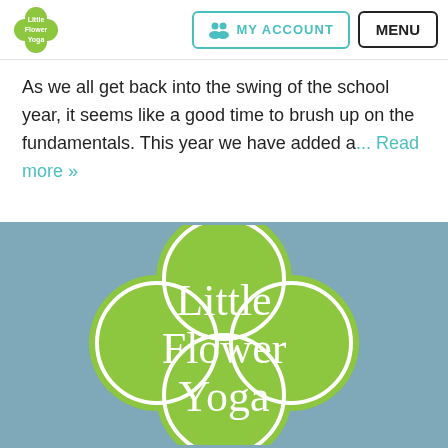[Figure (logo): Little Flower Yoga logo — green flower/cloud blob with white text reading 'Little Flower Yoga' in the navigation bar]
MY ACCOUNT   MENU
As we all get back into the swing of the school year, it seems like a good time to brush up on the fundamentals. This year we have added a... Read more »
[Figure (logo): Large Little Flower Yoga logo on a slate-blue background — green flower-shaped blob with white text reading 'Little Flower Yoga']